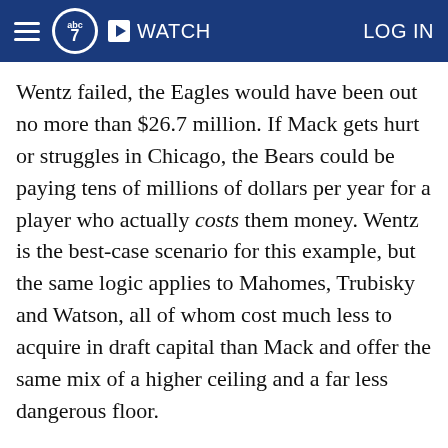ABC7 | WATCH | LOG IN
Wentz failed, the Eagles would have been out no more than $26.7 million. If Mack gets hurt or struggles in Chicago, the Bears could be paying tens of millions of dollars per year for a player who actually costs them money. Wentz is the best-case scenario for this example, but the same logic applies to Mahomes, Trubisky and Watson, all of whom cost much less to acquire in draft capital than Mack and offer the same mix of a higher ceiling and a far less dangerous floor.
To be worth two average first-round picks on top of his market-value contract, Mack would have to be worth,as an educated guess, something in the range of $15 million more than his market deal with the B...